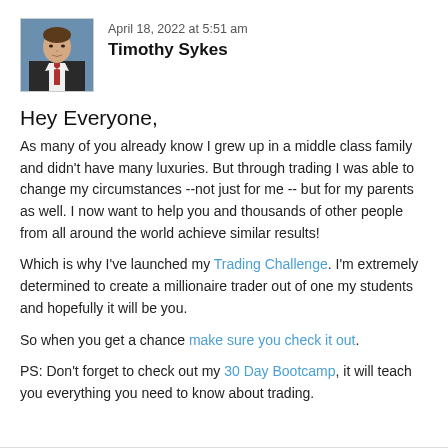[Figure (photo): Headshot photo of Timothy Sykes, a man in a suit]
April 18, 2022 at 5:51 am
Timothy Sykes
Hey Everyone,
As many of you already know I grew up in a middle class family and didn't have many luxuries. But through trading I was able to change my circumstances --not just for me -- but for my parents as well. I now want to help you and thousands of other people from all around the world achieve similar results!
Which is why I've launched my Trading Challenge. I'm extremely determined to create a millionaire trader out of one my students and hopefully it will be you.
So when you get a chance make sure you check it out.
PS: Don't forget to check out my 30 Day Bootcamp, it will teach you everything you need to know about trading.